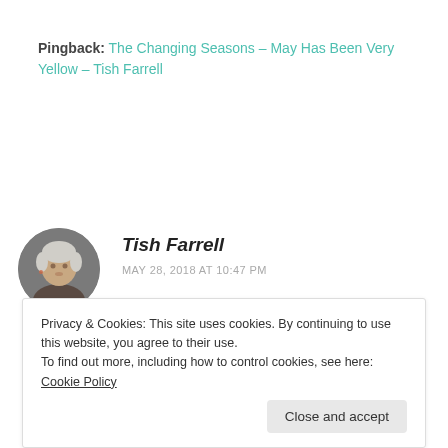Pingback: The Changing Seasons – May Has Been Very Yellow – Tish Farrell
[Figure (photo): Circular avatar photo of a woman with short grey/white hair]
Tish Farrell
MAY 28, 2018 AT 10:47 PM
[partial comment text visible at bottom]
Privacy & Cookies: This site uses cookies. By continuing to use this website, you agree to their use.
To find out more, including how to control cookies, see here: Cookie Policy
Close and accept